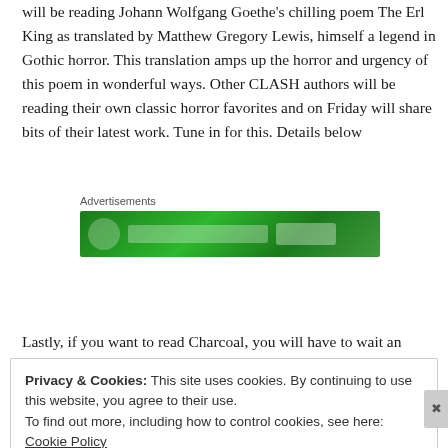will be reading Johann Wolfgang Goethe's chilling poem The Erl King as translated by Matthew Gregory Lewis, himself a legend in Gothic horror. This translation amps up the horror and urgency of this poem in wonderful ways. Other CLASH authors will be reading their own classic horror favorites and on Friday will share bits of their latest work. Tune in for this. Details below
Advertisements
[Figure (other): Green advertisement banner]
https://www.clashbooks.com/clash/2021/10/21/spooky-story-hour
Lastly, if you want to read Charcoal, you will have to wait an entire
Privacy & Cookies: This site uses cookies. By continuing to use this website, you agree to their use.
To find out more, including how to control cookies, see here: Cookie Policy
Close and accept